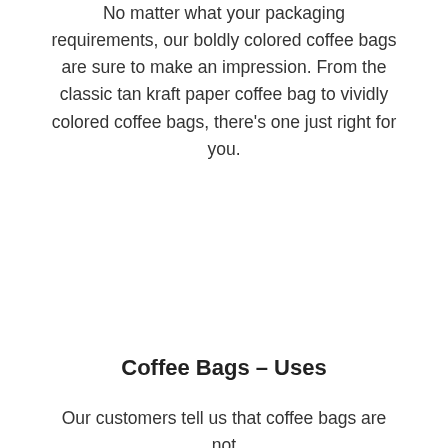No matter what your packaging requirements, our boldly colored coffee bags are sure to make an impression. From the classic tan kraft paper coffee bag to vividly colored coffee bags, there's one just right for you.
Coffee Bags - Uses
Our customers tell us that coffee bags are not